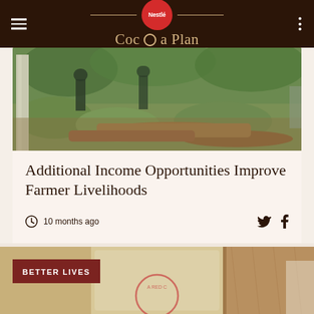Nestlé Cocoa Plan
[Figure (photo): Outdoor photo of a forest/plantation area with logs, green foliage, and people visible in the background]
Additional Income Opportunities Improve Farmer Livelihoods
10 months ago
[Figure (photo): Photo showing a sack labelled with partial text 'HA RED C', placed near a wooden surface. A 'BETTER LIVES' tag is overlaid on the bottom-left corner.]